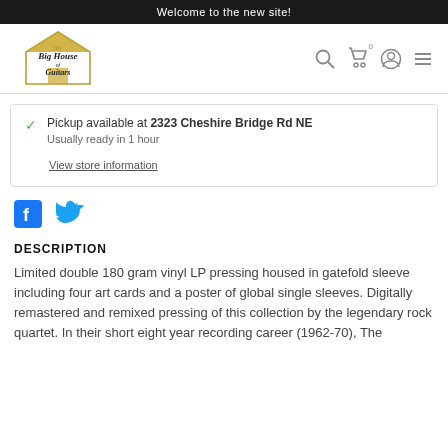Welcome to the new site!
[Figure (logo): The Big House of Guitars logo with ornate script lettering]
Pickup available at 2323 Cheshire Bridge Rd NE
Usually ready in 1 hour
View store information
[Figure (other): Facebook and Twitter social share icons]
DESCRIPTION
Limited double 180 gram vinyl LP pressing housed in gatefold sleeve including four art cards and a poster of global single sleeves. Digitally remastered and remixed pressing of this collection by the legendary rock quartet. In their short eight year recording career (1962-70), The